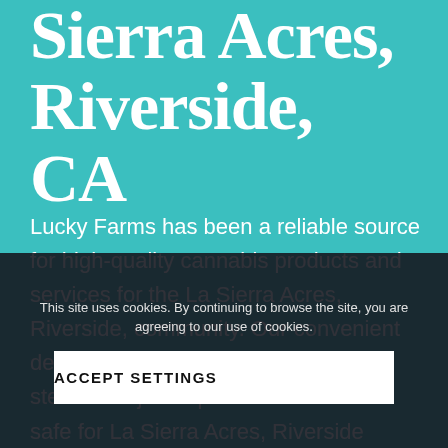Sierra Acres, Riverside, CA
Lucky Farms has been a reliable source for high-quality cannabis products and services for the La Sierra Acres, Riverside, community. Our convenient delivery service has made obtaining stellar marijuana products easier and safe for La Sierra Acres, Riverside residents. Just one call to Lucky Farms is all it takes to get world-class cannabis delivered to your preferred location in a timely manner. Browse our menu online, make an order, or call us for more information about our services and cannabis products.
This site uses cookies. By continuing to browse the site, you are agreeing to our use of cookies.
ACCEPT SETTINGS